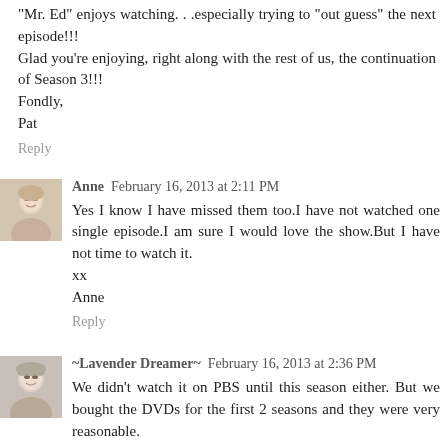Mr. Ed enjoys watching. . .especially trying to out guess the next episode!!!
Glad you're enjoying, right along with the rest of us, the continuation of Season 3!!!
Fondly,
Pat
Reply
Anne  February 16, 2013 at 2:11 PM
Yes I know I have missed them too.I have not watched one single episode.I am sure I would love the show.But I have not time to watch it.
xx
Anne
Reply
~Lavender Dreamer~  February 16, 2013 at 2:36 PM
We didn't watch it on PBS until this season either. But we bought the DVDs for the first 2 seasons and they were very reasonable.